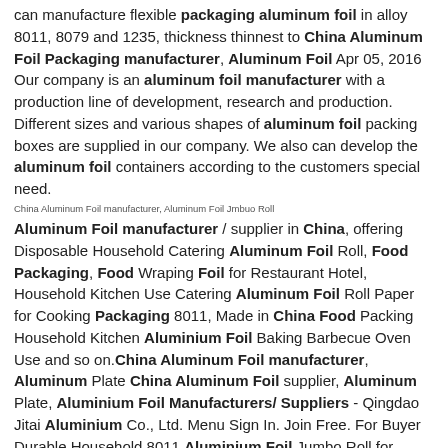can manufacture flexible packaging aluminum foil in alloy 8011, 8079 and 1235, thickness thinnest to China Aluminum Foil Packaging manufacturer, Aluminum Foil Apr 05, 2016 Our company is an aluminum foil manufacturer with a production line of development, research and production. Different sizes and various shapes of aluminum foil packing boxes are supplied in our company. We also can develop the aluminum foil containers according to the customers special need.
China Aluminum Foil manufacturer, Aluminum Foil Jmbuo Roll
Aluminum Foil manufacturer / supplier in China, offering Disposable Household Catering Aluminum Foil Roll, Food Packaging, Food Wraping Foil for Restaurant Hotel, Household Kitchen Use Catering Aluminum Foil Roll Paper for Cooking Packaging 8011, Made in China Food Packing Household Kitchen Aluminium Foil Baking Barbecue Oven Use and so on.China Aluminum Foil manufacturer, Aluminum Plate China Aluminum Foil supplier, Aluminum Plate, Aluminium Foil Manufacturers/ Suppliers - Qingdao Jitai Aluminium Co., Ltd. Menu Sign In. Join Free. For Buyer Durable Household 8011 Aluminium Foil Jumbo Roll for Food Packaging FOB Price: US $5.8-6.8 / China Aluminum Foil manufacturer, Aluminum, Food Packaging Nov 02, 2015 Huaxi Aluminum Co., Ltd is a professional manufacturer of converter aluminum foil and has great praise for its high product quality in the customer groups. 31st, December 2006, after holding 56.86% share of Huaxi from Wuzhou industry of Chinese